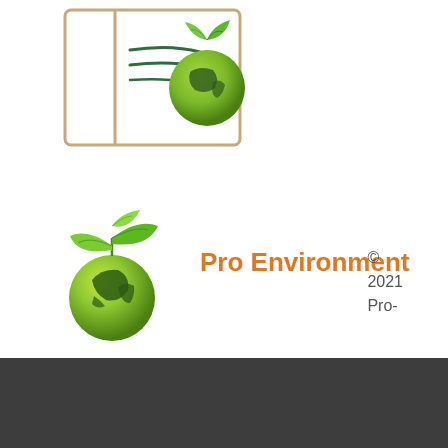[Figure (logo): Partial view of a book/folder icon with green globe and leaf illustration at the top of the page]
[Figure (logo): Green globe with North America map and green plant/leaves sprouting from top - Pro Environment logo]
Pro Environment
© 2021 Pro-
Tek
Privacy Policy and Disclaimer